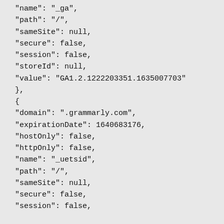"name": "_ga",
"path": "/",
"sameSite": null,
"secure": false,
"session": false,
"storeId": null,
"value": "GA1.2.1222203351.1635007703"
},
{
"domain": ".grammarly.com",
"expirationDate": 1640683176,
"hostOnly": false,
"httpOnly": false,
"name": "_uetsid",
"path": "/",
"sameSite": null,
"secure": false,
"session": false,